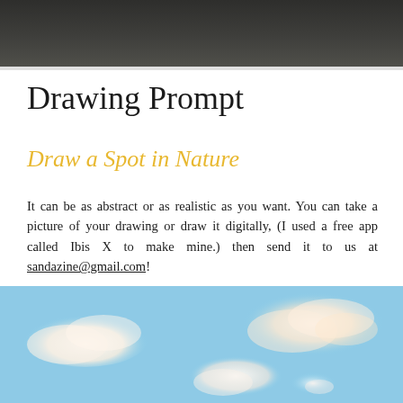[Figure (photo): Dark textured background photo at top of page]
Drawing Prompt
Draw a Spot in Nature
It can be as abstract or as realistic as you want. You can take a picture of your drawing or draw it digitally, (I used a free app called Ibis X to make mine.) then send it to us at sandazine@gmail.com!
[Figure (illustration): Digital illustration of a light blue sky with fluffy white clouds, drawn in a soft painterly style]